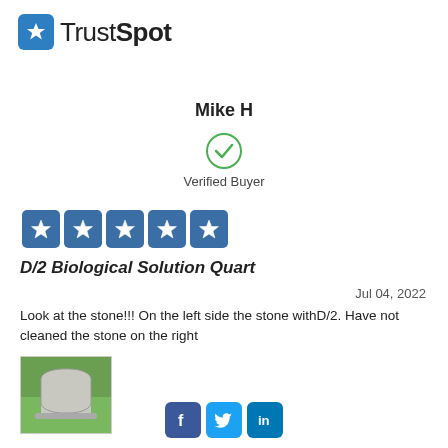[Figure (logo): TrustSpot logo: blue rounded-square icon with white star, text 'TrustSpot']
Mike H
[Figure (other): Green circle with checkmark — Verified Buyer badge]
Verified Buyer
[Figure (other): Five blue star rating boxes with white star icons]
D/2 Biological Solution Quart
Jul 04, 2022
Look at the stone!!! On the left side the stone withD/2. Have not cleaned the stone on the right
[Figure (photo): Photo thumbnail of a gravestone/headstone on green grass]
[Figure (other): Social media icons: Facebook, Twitter, LinkedIn]